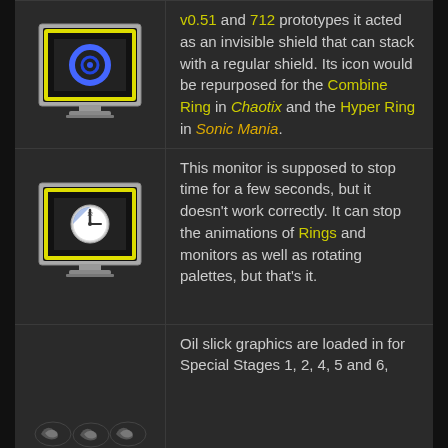[Figure (illustration): Pixel art monitor/TV box icon with blue circular eye/ring symbol on dark background with yellow border frame]
v0.51 and 712 prototypes it acted as an invisible shield that can stack with a regular shield. Its icon would be repurposed for the Combine Ring in Chaotix and the Hyper Ring in Sonic Mania.
[Figure (illustration): Pixel art monitor/TV box icon with clock face symbol on dark background with yellow border frame]
This monitor is supposed to stop time for a few seconds, but it doesn't work correctly. It can stop the animations of Rings and monitors as well as rotating palettes, but that's it.
[Figure (illustration): Pixel art oil slick/swirl graphics sprite]
Oil slick graphics are loaded in for Special Stages 1, 2, 4, 5 and 6,